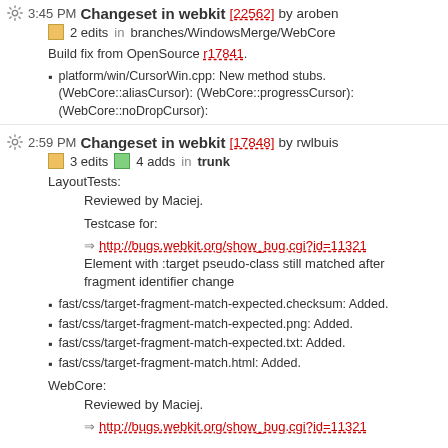3:45 PM Changeset in webkit [22562] by aroben
2 edits in branches/WindowsMerge/WebCore
Build fix from OpenSource r17841.
platform/win/CursorWin.cpp: New method stubs. (WebCore::aliasCursor): (WebCore::progressCursor): (WebCore::noDropCursor):
2:59 PM Changeset in webkit [17848] by rwlbuis
3 edits  4 adds  in trunk
LayoutTests:
Reviewed by Maciej.
Testcase for:
http://bugs.webkit.org/show_bug.cgi?id=11321
Element with :target pseudo-class still matched after fragment identifier change
fast/css/target-fragment-match-expected.checksum: Added.
fast/css/target-fragment-match-expected.png: Added.
fast/css/target-fragment-match-expected.txt: Added.
fast/css/target-fragment-match.html: Added.
WebCore:
Reviewed by Maciej.
http://bugs.webkit.org/show_bug.cgi?id=11321